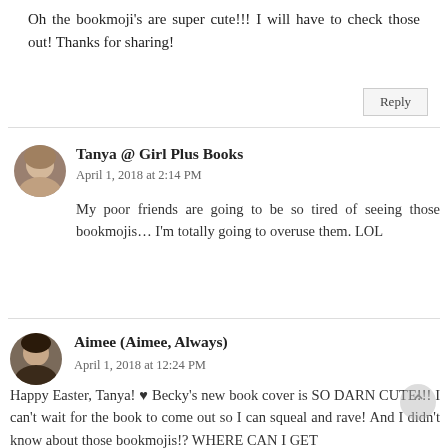Oh the bookmoji's are super cute!!! I will have to check those out! Thanks for sharing!
Reply
Tanya @ Girl Plus Books
April 1, 2018 at 2:14 PM

My poor friends are going to be so tired of seeing those bookmojis... I'm totally going to overuse them. LOL
Aimee (Aimee, Always)
April 1, 2018 at 12:24 PM

Happy Easter, Tanya! ♥ Becky's new book cover is SO DARN CUTE!!! I can't wait for the book to come out so I can squeal and rave! And I didn't know about those bookmojis!? WHERE CAN I GET